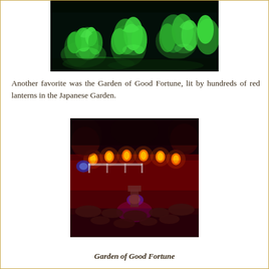[Figure (photo): Night garden scene with plants lit by green lights against dark background]
Another favorite was the Garden of Good Fortune, lit by hundreds of red lanterns in the Japanese Garden.
[Figure (photo): Garden of Good Fortune at night, lit by red lanterns and colorful lights among rocks and foliage]
Garden of Good Fortune